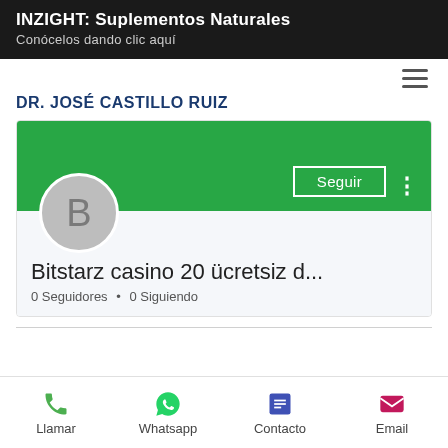[Figure (screenshot): Top banner with dark background showing 'INZIGHT: Suplementos Naturales' and subtitle 'Conócelos dando clic aquí']
DR. JOSÉ CASTILLO RUIZ
[Figure (screenshot): Social profile card with green header, gray avatar with letter B, Seguir button, profile name 'Bitstarz casino 20 ücretsiz d...', and stats '0 Seguidores • 0 Siguiendo']
[Figure (infographic): Bottom navigation bar with four icons: Llamar (phone), Whatsapp, Contacto, Email]